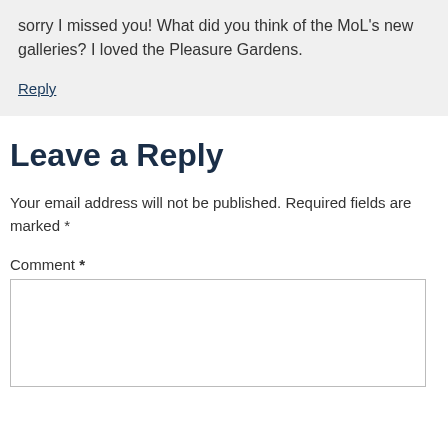sorry I missed you! What did you think of the MoL's new galleries? I loved the Pleasure Gardens.
Reply
Leave a Reply
Your email address will not be published. Required fields are marked *
Comment *